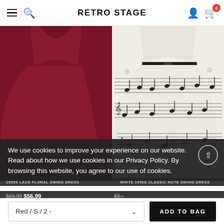RETRO STAGE
[Figure (photo): Red/burgundy lace floral swing dress, 1950s style, showing the skirt and bodice with V-neckline]
[Figure (photo): White 1950s classic music note swing dress with black musical notation print and black belt]
We use cookies to improve your experience on our website. Read about how we use cookies in our Privacy Policy. By browsing this website, you agree to our use of cookies.
PRIVACY POLICY   ACCEPT ✔
1950S LACE FLORAL SWING DRESS
WHITE 1950S CLASSIC NOTE SWING DRESS
$69.99 $56.99
$53...
Red / S / 2 -
ADD TO BAG